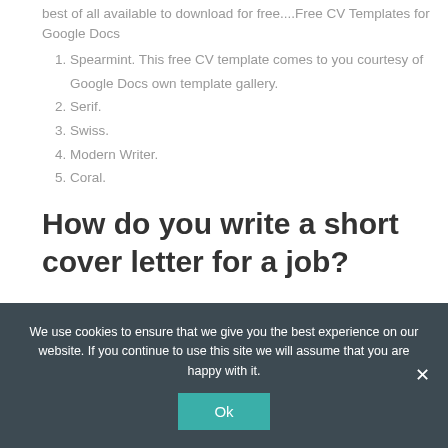best of all available to download for free....Free CV Templates for Google Docs
1. Spearmint. This free CV template comes to you courtesy of Google Docs own template gallery.
2. Serif.
3. Swiss.
4. Modern Writer.
5. Coral.
How do you write a short cover letter for a job?
How to write a short job application cover letter
We use cookies to ensure that we give you the best experience on our website. If you continue to use this site we will assume that you are happy with it.